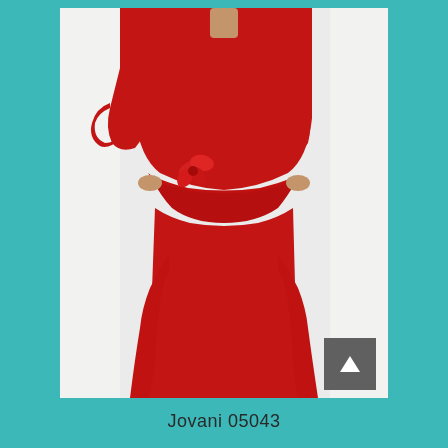[Figure (photo): A model wearing a long red formal gown with a peplum waist, flower detail, and mermaid silhouette. The dress has 3/4 sleeves. The model poses against a light grey/white background.]
Jovani 05043